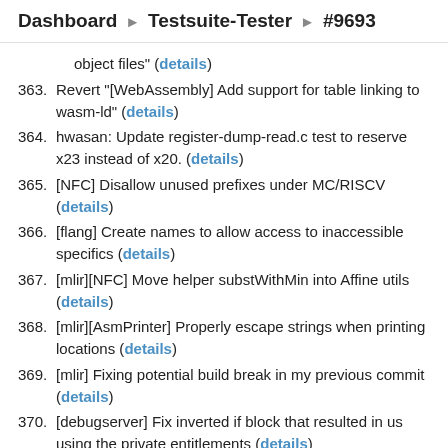Dashboard ▶ Testsuite-Tester ▶ #9693
object files" (details)
363. Revert "[WebAssembly] Add support for table linking to wasm-ld" (details)
364. hwasan: Update register-dump-read.c test to reserve x23 instead of x20. (details)
365. [NFC] Disallow unused prefixes under MC/RISCV (details)
366. [flang] Create names to allow access to inaccessible specifics (details)
367. [mlir][NFC] Move helper substWithMin into Affine utils (details)
368. [mlir][AsmPrinter] Properly escape strings when printing locations (details)
369. [mlir] Fixing potential build break in my previous commit (details)
370. [debugserver] Fix inverted if block that resulted in us using the private entitlements (details)
371. [NewPM][Inliner] Move the 'always inliner' case in the same CGSCC pass as 'regular' inliner (details)
372. [Inline] Fix a missing character in inline_stats.ll (details)
373. [util] ...